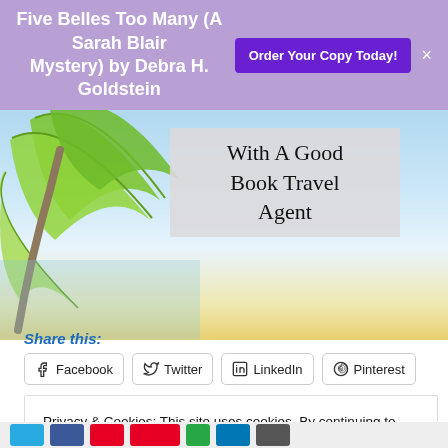Five Belles Too Many (A Sarah Blair Mystery) by Debra H. Goldstein
Order Your Copy Today!
[Figure (illustration): Beach tropical scene with palm leaves on left, ocean and sky in background]
With A Good Book Travel Agent
Share this:
Facebook  Twitter  LinkedIn  Pinterest
Privacy & Cookies: This site uses cookies. By continuing to use this website, you agree to their use.
To find out more, including how to control cookies, see here:
Cookie Policy
Close and accept